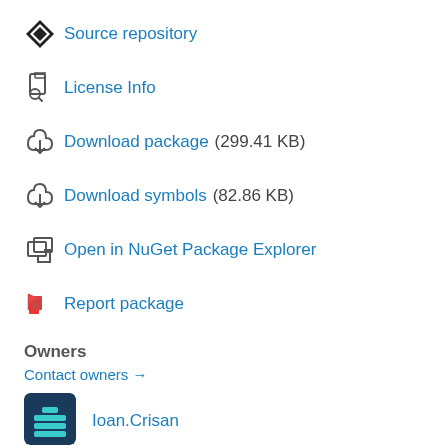Source repository
License Info
Download package  (299.41 KB)
Download symbols  (82.86 KB)
Open in NuGet Package Explorer
Report package
Owners
Contact owners →
[Figure (illustration): Ioan.Crisan owner avatar - teal icon on dark blue background]
Ioan.Crisan
[Figure (illustration): kephas owner avatar - teal pixel art icon on purple background]
kephas